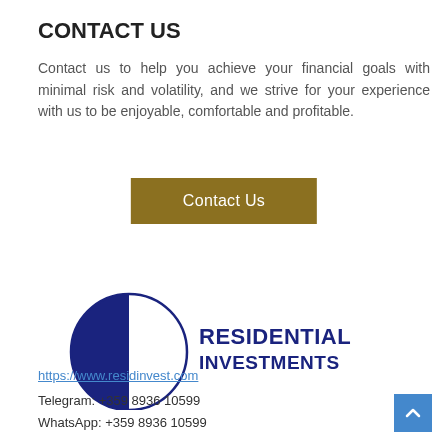CONTACT US
Contact us to help you achieve your financial goals with minimal risk and volatility, and we strive for your experience with us to be enjoyable, comfortable and profitable.
Contact Us
[Figure (logo): Residential Investments logo: a circle divided into dark blue left half and white right half with blue outline, with the text RESIDENTIAL INVESTMENTS in bold blue capital letters to the right of the circle.]
https://www.residinvest.com
Telegram: +359 8936 10599
WhatsApp: +359 8936 10599